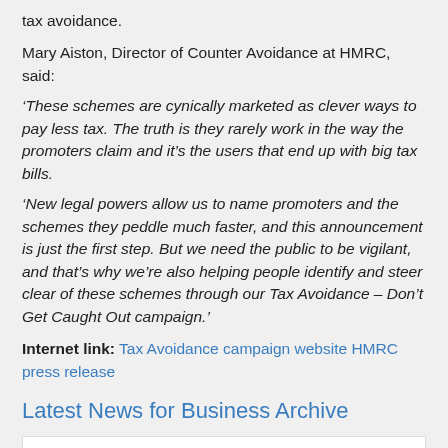tax avoidance.
Mary Aiston, Director of Counter Avoidance at HMRC, said:
‘These schemes are cynically marketed as clever ways to pay less tax. The truth is they rarely work in the way the promoters claim and it’s the users that end up with big tax bills.
‘New legal powers allow us to name promoters and the schemes they peddle much faster, and this announcement is just the first step. But we need the public to be vigilant, and that’s why we’re also helping people identify and steer clear of these schemes through our Tax Avoidance – Don’t Get Caught Out campaign.’
Internet link: Tax Avoidance campaign website HMRC press release
Latest News for Business Archive
04 AUG 2022
Recovery Loan Scheme to be relaunched